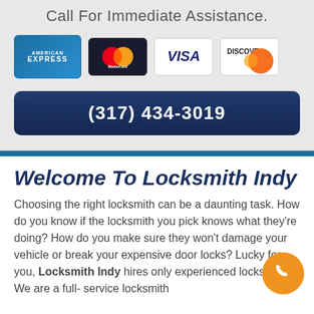Call For Immediate Assistance.
[Figure (logo): Payment card logos: American Express, MasterCard, Visa, Discover]
(317) 434-3019
Welcome To Locksmith Indy
Choosing the right locksmith can be a daunting task. How do you know if the locksmith you pick knows what they're doing? How do you make sure they won't damage your vehicle or break your expensive door locks? Lucky for you, Locksmith Indy hires only experienced locksmiths. We are a full- service locksmith serving Indianapolis Indiana, and the